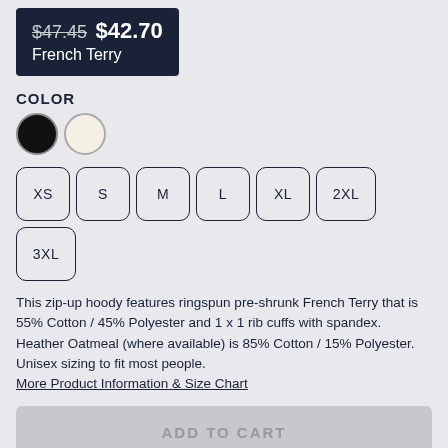$47.45 $42.70 French Terry
COLOR
[Figure (other): Two color swatches: black circle and cream/oatmeal circle]
[Figure (other): Size selector buttons: XS, S, M, L, XL, 2XL, 3XL]
This zip-up hoody features ringspun pre-shrunk French Terry that is 55% Cotton / 45% Polyester and 1 x 1 rib cuffs with spandex. Heather Oatmeal (where available) is 85% Cotton / 15% Polyester. Unisex sizing to fit most people. More Product Information & Size Chart
ADD TO CART
Free Shipping On US Orders Over $99 See checkout for details (excluding Shoes, Skateboards, and some Wall Art)